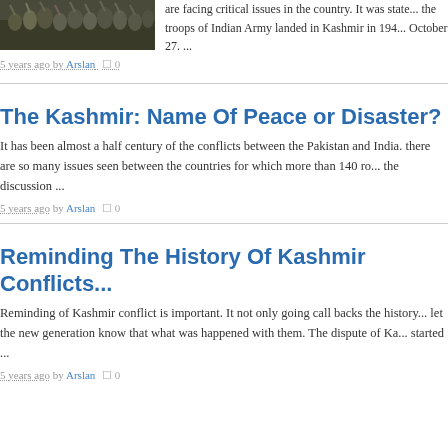[Figure (photo): Crowd of people with raised hands, protest or gathering scene]
are facing critical issues in the country. It was state... the troops of Indian Army landed in Kashmir in 194... October 27. ...
5 years ago by Arslan  0
The Kashmir: Name Of Peace or Disaster?
It has been almost a half century of the conflicts between the Pakistan and India. there are so many issues seen between the countries for which more than 140 ro... the discussion ...
5 years ago by Arslan  0
Reminding The History Of Kashmir Conflicts...
Reminding of Kashmir conflict is important. It not only going call backs the history... let the new generation know that what was happened with them. The dispute of Ka... started ...
5 years ago by Arslan  0